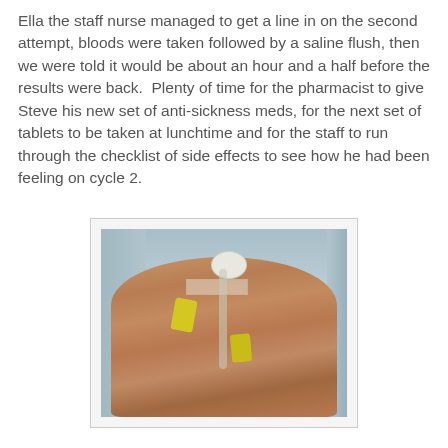Ella the staff nurse managed to get a line in on the second attempt, bloods were taken followed by a saline flush, then we were told it would be about an hour and a half before the results were back.  Plenty of time for the pharmacist to give Steve his new set of anti-sickness meds, for the next set of tablets to be taken at lunchtime and for the staff to run through the checklist of side effects to see how he had been feeling on cycle 2.
[Figure (photo): Photograph of an elderly patient's hand with an intravenous (IV) cannula inserted, showing IV tubing with yellow connectors/clips, white cannula cap, and tape securing the line. The hand is resting on a light blue hospital gown or sheet.]